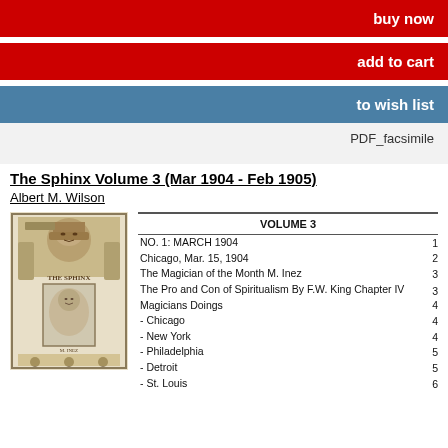buy now
add to cart
to wish list
PDF_facsimile
The Sphinx Volume 3 (Mar 1904 - Feb 1905)
Albert M. Wilson
[Figure (photo): Cover image of The Sphinx magazine showing a sphinx monument with a portrait inset, decorated border with figures]
| VOLUME 3 |  |
| --- | --- |
| NO. 1: MARCH 1904 | 1 |
| Chicago, Mar. 15, 1904 | 2 |
| The Magician of the Month M. Inez | 3 |
| The Pro and Con of Spiritualism By F.W. King Chapter IV | 3 |
| Magicians Doings | 4 |
| - Chicago | 4 |
| - New York | 4 |
| - Philadelphia | 5 |
| - Detroit | 5 |
| - St. Louis | 6 |